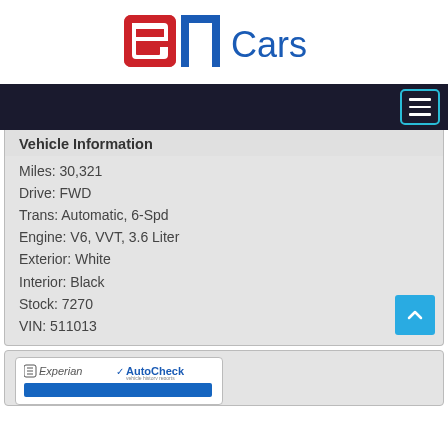[Figure (logo): ASN Cars logo with red stylized 'as' and blue 'n' letters followed by blue 'Cars' text]
Vehicle Information
Miles: 30,321
Drive: FWD
Trans: Automatic, 6-Spd
Engine: V6, VVT, 3.6 Liter
Exterior: White
Interior: Black
Stock: 7270
VIN: 511013
[Figure (logo): Experian AutoCheck vehicle history reports logo card, partially visible at bottom]